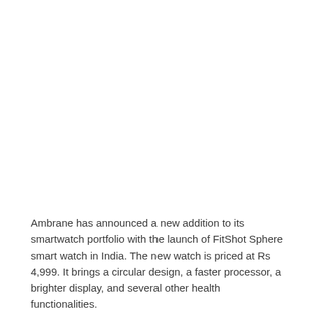Ambrane has announced a new addition to its smartwatch portfolio with the launch of FitShot Sphere smart watch in India. The new watch is priced at Rs 4,999. It brings a circular design, a faster processor, a brighter display, and several other health functionalities.
The product in shades of Black and Peach comes with 365